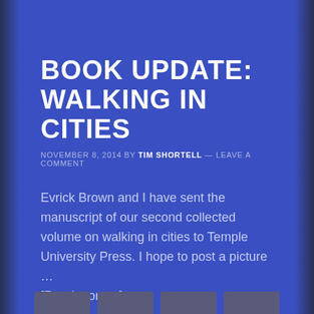BOOK UPDATE: WALKING IN CITIES
NOVEMBER 8, 2014 BY TIM SHORTELL — LEAVE A COMMENT
Evrick Brown and I have sent the manuscript of our second collected volume on walking in cities to Temple University Press. I hope to post a picture … [Read more…]
FILED UNDER: ANNOUNCEMENTS, SCHOLARSHIP, URBAN SOCIOLOGY